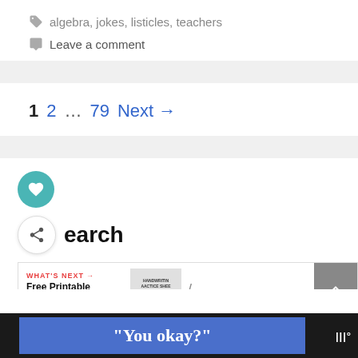algebra, jokes, listicles, teachers
Leave a comment
1  2  …  79  Next →
[Figure (screenshot): Social share widget with heart button (teal circle) and share button, next to 'earch' label]
WHAT'S NEXT → Free Printable Handwriting...
"You okay?"